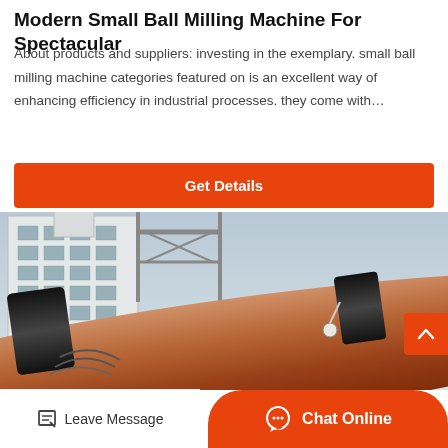Modern Small Ball Milling Machine For Spectacular
About products and suppliers: investing in the exemplary. small ball milling machine categories featured on is an excellent way of enhancing efficiency in industrial processes. they come with…
Get Details
[Figure (photo): Large industrial ball mill cylinder/drum (brown/orange color) photographed outdoors with a white multi-story factory building and steel frame structure in the background. Industrial machinery closeup.]
Leave Message
Chat Online